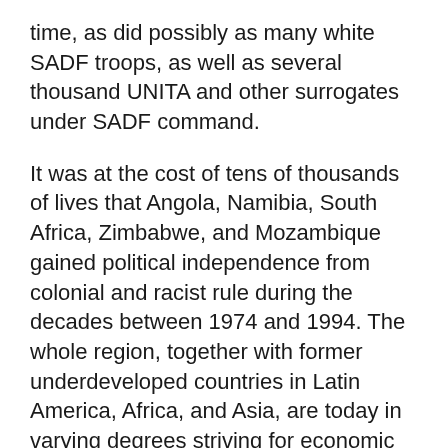time, as did possibly as many white SADF troops, as well as several thousand UNITA and other surrogates under SADF command.
It was at the cost of tens of thousands of lives that Angola, Namibia, South Africa, Zimbabwe, and Mozambique gained political independence from colonial and racist rule during the decades between 1974 and 1994. The whole region, together with former underdeveloped countries in Latin America, Africa, and Asia, are today in varying degrees striving for economic independence in a difficult and highly complex new world order. The outcome of this is closely connected to the situation and struggles in North America and Europe and bloody contestation in the Arab world. Whatever stage has been reached—and there certainly have been gains and setbacks—one cannot belittle the enormous sacrifices of the struggle for national liberation and independence from colonial and racist